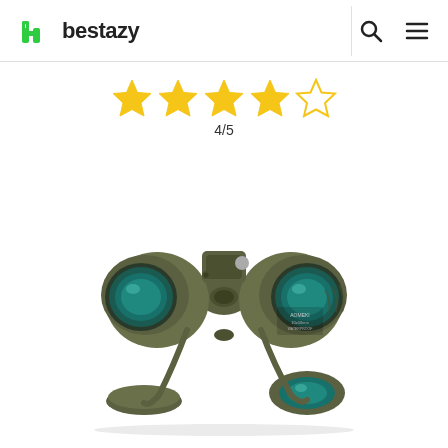bestazy
[Figure (other): Star rating showing 4 out of 5 stars (4 filled gold stars and 1 empty star outline), with text '4/5' below]
[Figure (photo): Military-style olive green binoculars with teal-coated lenses, compass/rangefinder module on top, strap attached, lens caps visible, photographed at an angle against white background]